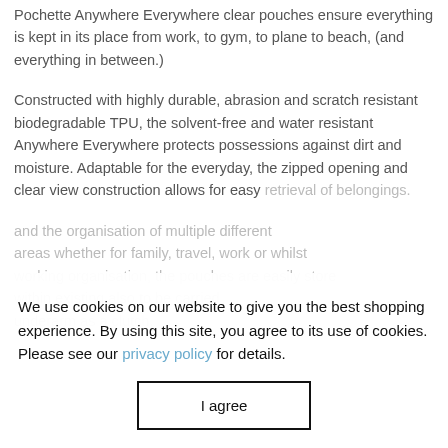Pochette Anywhere Everywhere clear pouches ensure everything is kept in its place from work, to gym, to plane to beach, (and everything in between.)
Constructed with highly durable, abrasion and scratch resistant biodegradable TPU, the solvent-free and water resistant Anywhere Everywhere protects possessions against dirt and moisture. Adaptable for the everyday, the zipped opening and clear view construction allows for easy retrieval of belongings.
We use cookies on our website to give you the best shopping experience. By using this site, you agree to its use of cookies. Please see our privacy policy for details.